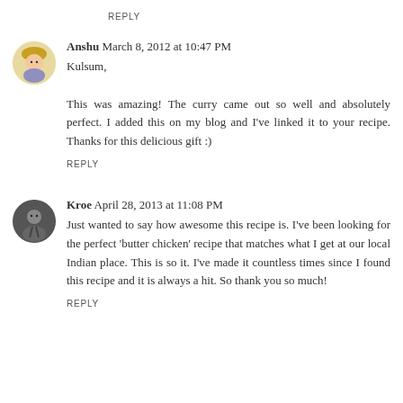REPLY
Anshu March 8, 2012 at 10:47 PM
Kulsum,

This was amazing! The curry came out so well and absolutely perfect. I added this on my blog and I've linked it to your recipe. Thanks for this delicious gift :)
REPLY
Kroe April 28, 2013 at 11:08 PM
Just wanted to say how awesome this recipe is. I've been looking for the perfect 'butter chicken' recipe that matches what I get at our local Indian place. This is so it. I've made it countless times since I found this recipe and it is always a hit. So thank you so much!
REPLY